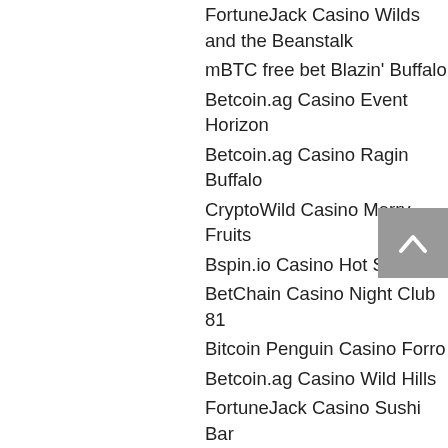FortuneJack Casino Wilds and the Beanstalk
mBTC free bet Blazin' Buffalo
Betcoin.ag Casino Event Horizon
Betcoin.ag Casino Ragin Buffalo
CryptoWild Casino Merry Fruits
Bspin.io Casino Hot Shot
BetChain Casino Night Club 81
Bitcoin Penguin Casino Forro
Betcoin.ag Casino Wild Hills
FortuneJack Casino Sushi Bar
Bspin.io Casino Fruit Cocktail 2
22Bet Casino Glam Life
1xSlots Casino Lapland
https://www.overflowingharvest.com/profile/gambling-age-at-tioga-downs-1297/profile https://erivideo.se/forum/profile/casinoen5004673/ https://fr.peacearchstampclub.com/profile/go-wild-online-casino-download-7794/profile https://worldwidecarpcommunity.com/community/profile/casinoen18004755/